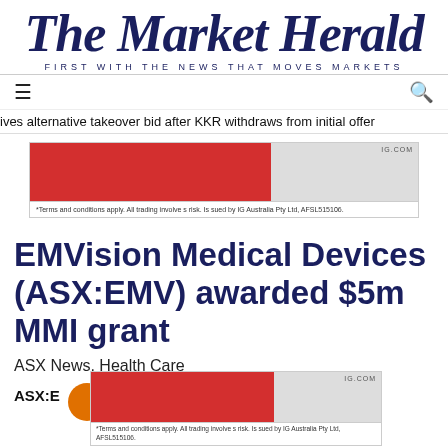The Market Herald — FIRST WITH THE NEWS THAT MOVES MARKETS
ives alternative takeover bid after KKR withdraws from initial offer
[Figure (advertisement): IG.com advertisement banner — red and grey sections with disclaimer: *Terms and conditions apply. All trading involves risk. Issued by IG Australia Pty Ltd, AFSL515106.]
EMVision Medical Devices (ASX:EMV) awarded $5m MMI grant
ASX News, Health Care
ASX:E
[Figure (advertisement): IG.com advertisement banner overlay — red and grey sections with disclaimer: *Terms and conditions apply. All trading involves risk. Issued by IG Australia Pty Ltd, AFSL515106.]